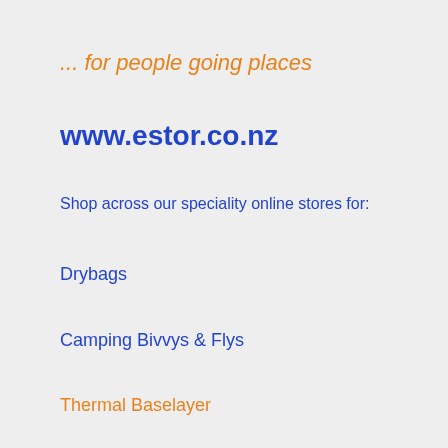... for people going places
www.estor.co.nz
Shop across our speciality online stores for:
Drybags
Camping Bivvys & Flys
Thermal Baselayer